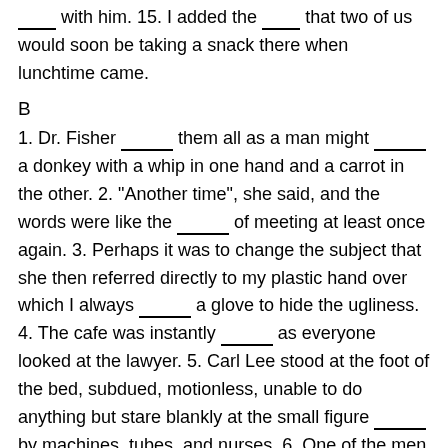____ with him. 15. I added the ____ that two of us would soon be taking a snack there when lunchtime came.
B
1. Dr. Fisher ____ them all as a man might ____ a donkey with a whip in one hand and a carrot in the other. 2. "Another time", she said, and the words were like the ____ of meeting at least once again. 3. Perhaps it was to change the subject that she then referred directly to my plastic hand over which I always ____ a glove to hide the ugliness. 4. The cafe was instantly ____ as everyone looked at the lawyer. 5. Carl Lee stood at the foot of the bed, subdued, motionless, unable to do anything but stare blankly at the small figure ____ by machines, tubes, and nurses. 6. One of the men we had paid the day before got up from his chair as we ____. 7. I loved her so much. I was willing to bear anything. I ____ her. 8. "How absurd we are", Anna-Luise ____ "what on earth can he do to us?" 9.